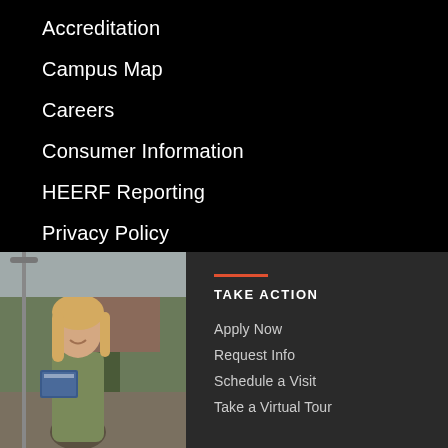Accreditation
Campus Map
Careers
Consumer Information
HEERF Reporting
Privacy Policy
Title IX
[Figure (photo): A smiling female student holding textbooks, standing outdoors on a college campus with trees and brick buildings in the background.]
TAKE ACTION
Apply Now
Request Info
Schedule a Visit
Take a Virtual Tour